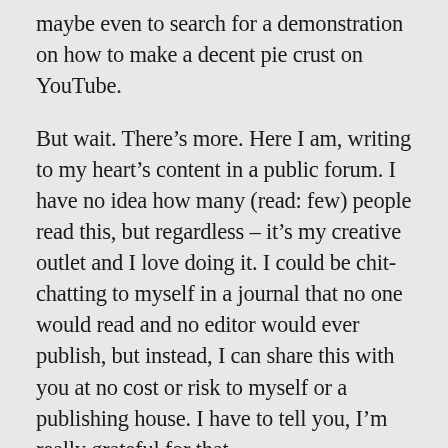maybe even to search for a demonstration on how to make a decent pie crust on YouTube.
But wait. There’s more. Here I am, writing to my heart’s content in a public forum. I have no idea how many (read: few) people read this, but regardless – it’s my creative outlet and I love doing it. I could be chit-chatting to myself in a journal that no one would read and no editor would ever publish, but instead, I can share this with you at no cost or risk to myself or a publishing house. I have to tell you, I’m really grateful for that.